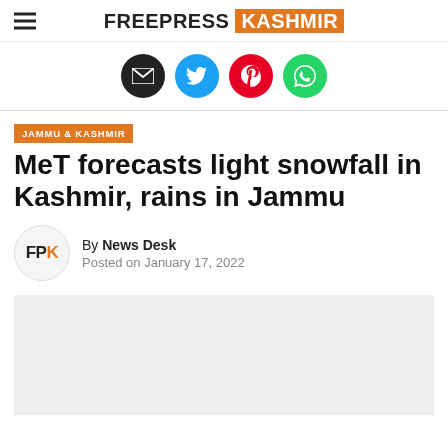FREEPRESS KASHMIR
[Figure (illustration): Social share icons: email (black), Twitter (blue), Pinterest (red), WhatsApp (green)]
JAMMU & KASHMIR
MeT forecasts light snowfall in Kashmir, rains in Jammu
By News Desk
Posted on January 17, 2022
[Figure (photo): Article image placeholder (light grey rectangle)]